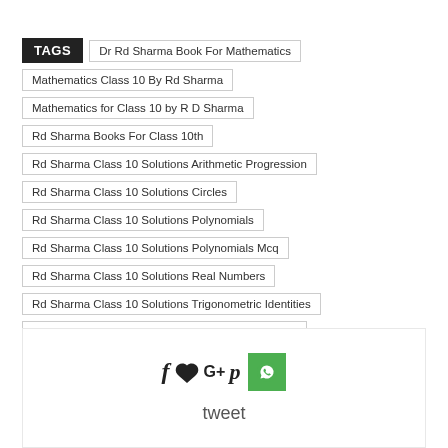TAGS
Dr Rd Sharma Book For Mathematics
Mathematics Class 10 By Rd Sharma
Mathematics for Class 10 by R D Sharma
Rd Sharma Books For Class 10th
Rd Sharma Class 10 Solutions Arithmetic Progression
Rd Sharma Class 10 Solutions Circles
Rd Sharma Class 10 Solutions Polynomials
Rd Sharma Class 10 Solutions Polynomials Mcq
Rd Sharma Class 10 Solutions Real Numbers
Rd Sharma Class 10 Solutions Trigonometric Identities
Rd Sharma Class 10 Solutions Trigonometric Ratios
Rd Sharma Solutions Class 10
Rd Sharma Solutions Class 10th
[Figure (infographic): Social sharing icons: Facebook (f), Twitter bird, Google+, Pinterest (p), WhatsApp (green button with phone icon), and tweet text below]